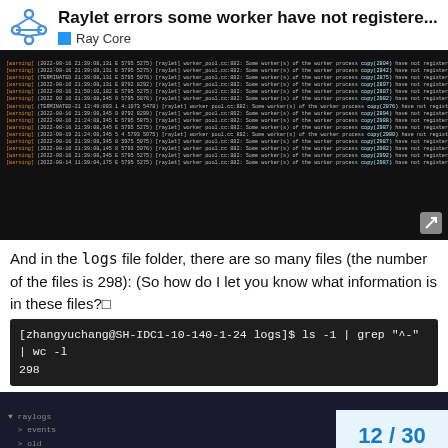Raylet errors some worker have not registere...
Ray Core
[Figure (screenshot): Terminal/log output showing repeated raylet worker registration error messages in dark theme]
And in the logs file folder, there are so many files (the number of the files is 298): (So how do I let you know what information is in these files?□
[Figure (screenshot): Terminal command: [zhangyuchang@SH-IDC1-10-140-1-24 logs]$ ls -1 | grep "^-" | wc -l
298]
[Figure (screenshot): File tree showing raylogs folder with events, old, dashboard_agent.log, dashboard.log, debug_state_gcs.txt entries. Page navigation badge showing 12/30.]